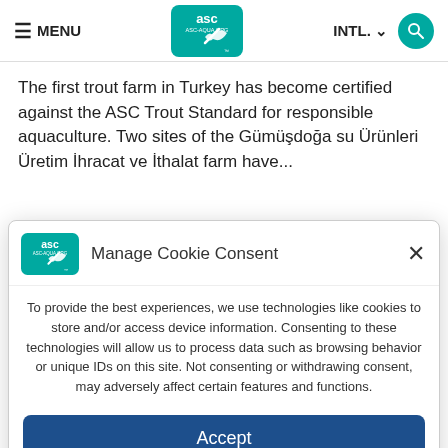≡ MENU | ASC Logo | INTL. | Search
The first trout farm in Turkey has become certified against the ASC Trout Standard for responsible aquaculture. Two sites of the Gümüşdoğa su Ürünleri Üretim İhracat ve İthalat farm have...
Manage Cookie Consent
To provide the best experiences, we use technologies like cookies to store and/or access device information. Consenting to these technologies will allow us to process data such as browsing behavior or unique IDs on this site. Not consenting or withdrawing consent, may adversely affect certain features and functions.
Accept
Cookie notice of Aquaculture Stewardship Council Ltd.